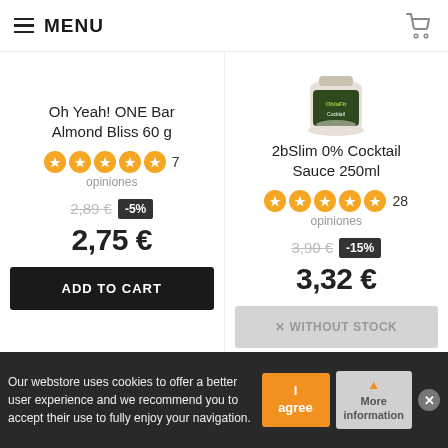MENU
[Figure (photo): Product image: 2bSlim 0% Cocktail Sauce 250ml jar]
Oh Yeah! ONE Bar Almond Bliss 60 g
2bSlim 0% Cocktail Sauce 250ml
★★★★★ 7 opiniones
★★★★★ 28 opiniones
2,89 € -5%
3,90 € -15%
2,75 €
3,32 €
ADD TO CART
× WITHOUT STOCK
Our webstore uses cookies to offer a better user experience and we recommend you to accept their use to fully enjoy your navigation.